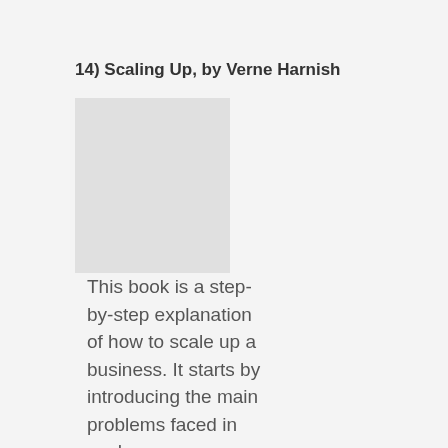14) Scaling Up, by Verne Harnish
[Figure (photo): Book cover placeholder image (light gray rectangle)]
This book is a step-by-step explanation of how to scale up a business. It starts by introducing the main problems faced in each different stage, and provides many effective solutions derived from personal experiences with companies with dramatic revenue increases. I am convinced that if all startups read Scaling Up, the ratio of their success will increase threefold.